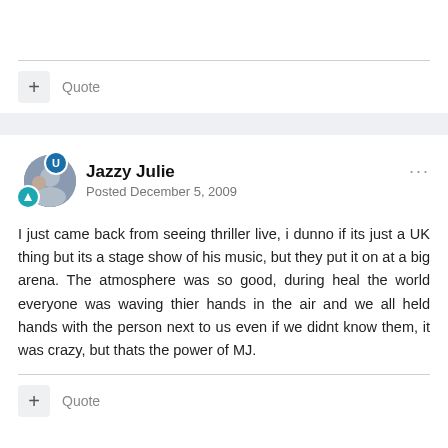+ Quote
Jazzy Julie
Posted December 5, 2009
I just came back from seeing thriller live, i dunno if its just a UK thing but its a stage show of his music, but they put it on at a big arena. The atmosphere was so good, during heal the world everyone was waving thier hands in the air and we all held hands with the person next to us even if we didnt know them, it was crazy, but thats the power of MJ.
+ Quote